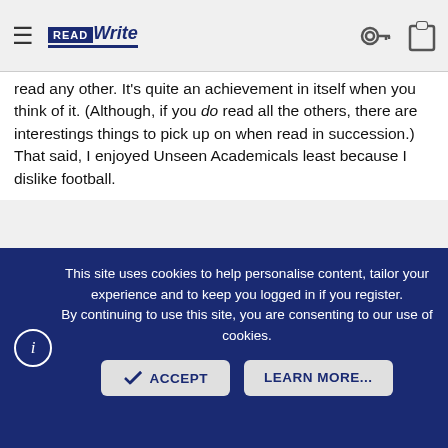ReadWrite navigation bar with hamburger menu and logo
read any other. It's quite an achievement in itself when you think of it. (Although, if you do read all the others, there are interestings things to pick up on when read in succession.) That said, I enjoyed Unseen Academicals least because I dislike football.
Gatteau said: ↩

So when we have any snow more than a few inches (a frequent occurrence at high elevation in the MOUNTAINS), I've learned to just expect that I will get no mail for days, and must then deal with the torment of the Line at the Post Office. Most days I feel it's a miracle if we ever get anything delivered. SO much fun.
This site uses cookies to help personalise content, tailor your experience and to keep you logged in if you register. By continuing to use this site, you are consenting to our use of cookies.